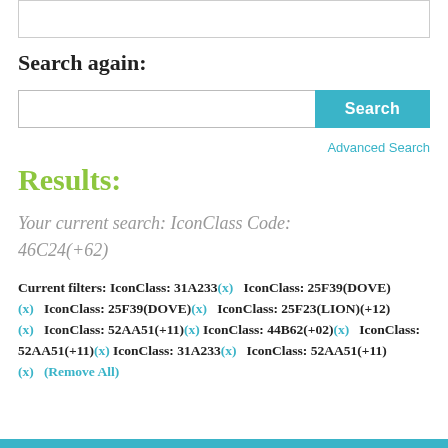[Figure (screenshot): Top portion of a previous search result box, partially visible]
Search again:
[Figure (screenshot): Search input bar with a cyan 'Search' button on the right]
Advanced Search
Results:
Your current search: IconClass Code:
46C24(+62)
Current filters: IconClass: 31A233(x)   IconClass: 25F39(DOVE)(x)   IconClass: 25F39(DOVE)(x)   IconClass: 25F23(LION)(+12)(x)   IconClass: 52AA51(+11)(x)   IconClass: 44B62(+02)(x)   IconClass: 52AA51(+11)(x)   IconClass: 31A233(x)   IconClass: 52AA51(+11)(x)   (Remove All)